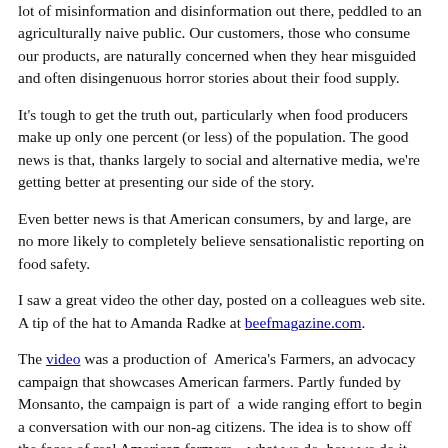lot of misinformation and disinformation out there, peddled to an agriculturally naive public. Our customers, those who consume our products, are naturally concerned when they hear misguided and often disingenuous horror stories about their food supply.
It's tough to get the truth out, particularly when food producers make up only one percent (or less) of the population. The good news is that, thanks largely to social and alternative media, we're getting better at presenting our side of the story.
Even better news is that American consumers, by and large, are no more likely to completely believe sensationalistic reporting on food safety.
I saw a great video the other day, posted on a colleagues web site. A tip of the hat to Amanda Radke at beefmagazine.com.
The video was a production of America's Farmers, an advocacy campaign that showcases American farmers. Partly funded by Monsanto, the campaign is part of a wide ranging effort to begin a conversation with our non-ag citizens. The idea is to show off the faces of real American farmers – what we do, how we do it, why